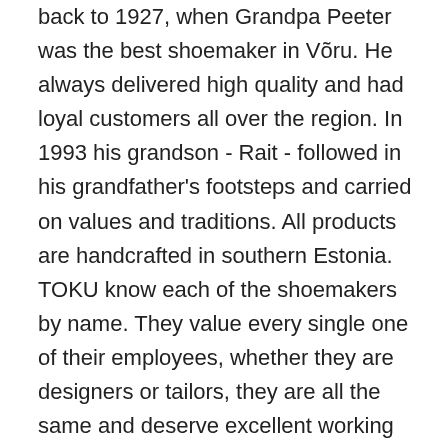back to 1927, when Grandpa Peeter was the best shoemaker in Võru. He always delivered high quality and had loyal customers all over the region. In 1993 his grandson - Rait - followed in his grandfather's footsteps and carried on values and traditions. All products are handcrafted in southern Estonia. TOKU know each of the shoemakers by name. They value every single one of their employees, whether they are designers or tailors, they are all the same and deserve excellent working conditions. TOKU practice slow fashion by using natural, high quality materials and creating versatile, durable styles to ensure your shoes will last for years! Material 70% wool and 30% polyamide or nylon, the sole is made of microfiber and polyurethane, a rubber-like plastic. Care: ventilate well and rub off with a damp cloth. If they are heavily soiled, they can also be spun cold in the washing machine on the wool program.